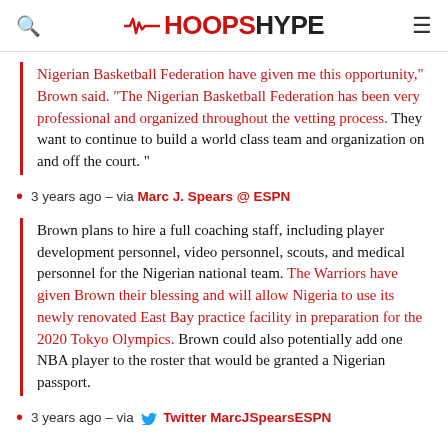HOOPSHYPE
Nigerian Basketball Federation have given me this opportunity," Brown said. "The Nigerian Basketball Federation has been very professional and organized throughout the vetting process. They want to continue to build a world class team and organization on and off the court."
3 years ago – via Marc J. Spears @ ESPN
Brown plans to hire a full coaching staff, including player development personnel, video personnel, scouts, and medical personnel for the Nigerian national team. The Warriors have given Brown their blessing and will allow Nigeria to use its newly renovated East Bay practice facility in preparation for the 2020 Tokyo Olympics. Brown could also potentially add one NBA player to the roster that would be granted a Nigerian passport.
3 years ago – via Twitter MarcJSpearsESPN